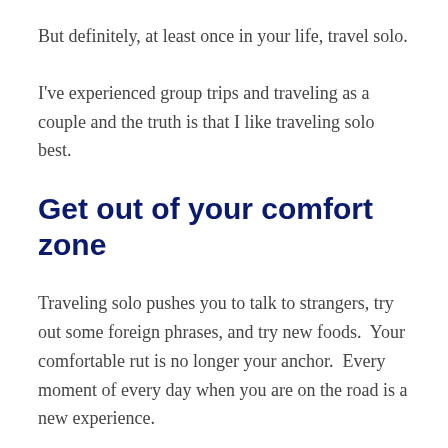But definitely, at least once in your life, travel solo.
I've experienced group trips and traveling as a couple and the truth is that I like traveling solo best.
Get out of your comfort zone
Traveling solo pushes you to talk to strangers, try out some foreign phrases, and try new foods.  Your comfortable rut is no longer your anchor.  Every moment of every day when you are on the road is a new experience.
I don't greet people in my everyday life by bowing with my hands together in front of my heart and saying